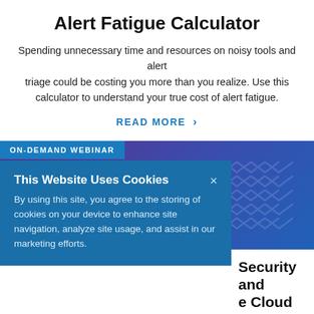Alert Fatigue Calculator
Spending unnecessary time and resources on noisy tools and alert triage could be costing you more than you realize. Use this calculator to understand your true cost of alert fatigue.
READ MORE ›
[Figure (screenshot): On-demand webinar promotional banner with a purple/blue gradient background featuring isometric digital/cloud graphic elements with chevron patterns.]
This Website Uses Cookies
By using this site, you agree to the storing of cookies on your device to enhance site navigation, analyze site usage, and assist in our marketing efforts.
Security and e Cloud
ively navigate the unique